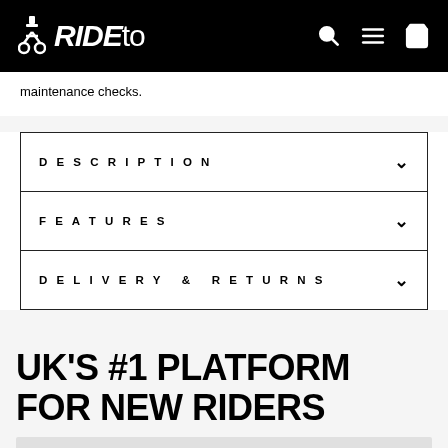RIDEto
maintenance checks.
| Section | Toggle |
| --- | --- |
| DESCRIPTION | v |
| FEATURES | v |
| DELIVERY & RETURNS | v |
UK'S #1 PLATFORM FOR NEW RIDERS